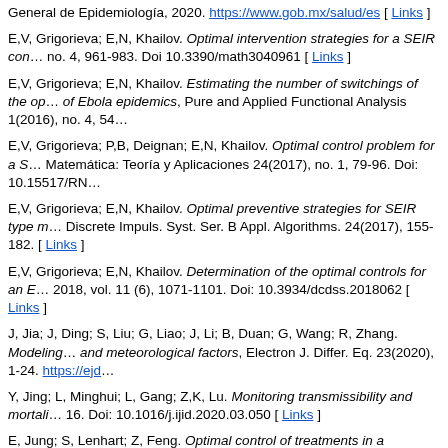General de Epidemiología, 2020. https://www.gob.mx/salud/es [ Links ]
E,V, Grigorieva; E,N, Khailov. Optimal intervention strategies for a SEIR co... no. 4, 961-983. Doi 10.3390/math3040961 [ Links ]
E,V, Grigorieva; E,N, Khailov. Estimating the number of switchings of the op... of Ebola epidemics, Pure and Applied Functional Analysis 1(2016), no. 4, 54...
E,V, Grigorieva; P,B, Deignan; E,N, Khailov. Optimal control problem for a S... Matemática: Teoría y Aplicaciones 24(2017), no. 1, 79-96. Doi: 10.15517/RN...
E,V, Grigorieva; E,N, Khailov. Optimal preventive strategies for SEIR type m... Discrete Impuls. Syst. Ser. B Appl. Algorithms. 24(2017), 155-182. [ Links ]
E,V, Grigorieva; E,N, Khailov. Determination of the optimal controls for an E... 2018, vol. 11 (6), 1071-1101. Doi: 10.3934/dcdss.2018062 [ Links ]
J, Jia; J, Ding; S, Liu; G, Liao; J, Li; B, Duan; G, Wang; R, Zhang. Modeling... and meteorological factors, Electron J. Differ. Eq. 23(2020), 1-24. https://ejd...
Y, Jing; L, Minghui; L, Gang; Z,K, Lu. Monitoring transmissibility and mortali... 16. Doi: 10.1016/j.ijid.2020.03.050 [ Links ]
E, Jung; S, Lenhart; Z, Feng. Optimal control of treatments in a twostrain tu... 2(2002), no.4, 473-482. Doi: 10.3934/dcdsb.2002.2.473 [ Links ]
U, Ledzewicz; H, Schättler. On optimal singular controls for a general SIR-n... Dyn. Syst. 2011, supplement, 981-990. [ Links ]
E,B, Lee; L, Marcus. Foundations of Optimal Control Theory, John Wiley & S... [ Links ]